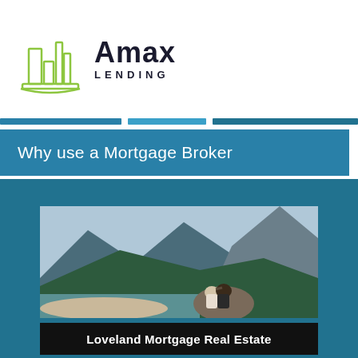[Figure (logo): Amax Lending logo with green building/bar chart icon and bold company name]
Why use a Mortgage Broker
[Figure (photo): Couple sitting on a rock overlooking a mountain lake with forested hills and dramatic peaks in the background]
Loveland Mortgage Real Estate